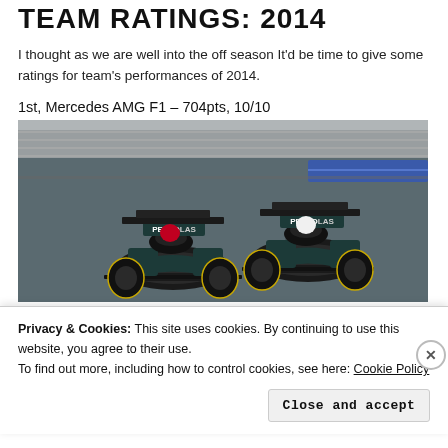TEAM RATINGS: 2014
I thought as we are well into the off season It'd be time to give some ratings for team's performances of 2014.
1st, Mercedes AMG F1 – 704pts, 10/10
[Figure (photo): Two Mercedes AMG F1 cars with PETRONAS livery racing on track, viewed from the front, side by side on a racing circuit.]
Privacy & Cookies: This site uses cookies. By continuing to use this website, you agree to their use.
To find out more, including how to control cookies, see here: Cookie Policy
Close and accept